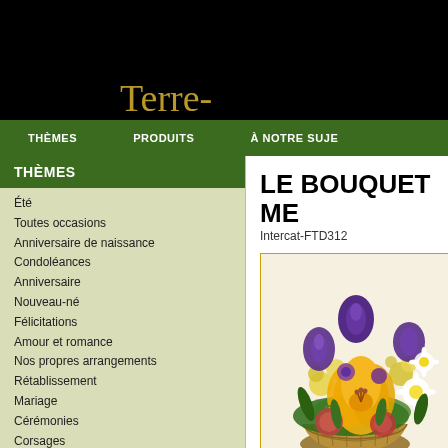Terre-Nature
THÈMES   PRODUITS   À NOTRE SUJET
THÈMES
Été
Toutes occasions
Anniversaire de naissance
Condoléances
Anniversaire
Nouveau-né
Félicitations
Amour et romance
Nos propres arrangements
Rétablissement
Mariage
Cérémonies
Corsages
PRODUITS
Roses
Exclusivités FTD
Produits gastronomiques
LE BOUQUET ME
Intercat-FTD312
[Figure (photo): A floral arrangement in a basket featuring yellow lilies, purple irises, white daisy-like flowers, yellow filler flowers, and decorative elements including what appear to be pomegranates, with green foliage throughout.]